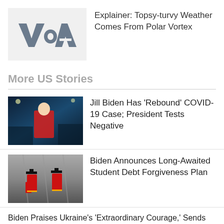[Figure (logo): VOA (Voice of America) logo on light grey background]
Explainer: Topsy-turvy Weather Comes From Polar Vortex
More US Stories
[Figure (photo): Jill Biden in red jacket at outdoor night event with stadium lights]
Jill Biden Has 'Rebound' COVID-19 Case; President Tests Negative
[Figure (photo): Aerial view of two graduation students in red gowns and caps on pavement]
Biden Announces Long-Awaited Student Debt Forgiveness Plan
Biden Praises Ukraine's 'Extraordinary Courage,' Sends Nearly $3 Billion in New Military Aid